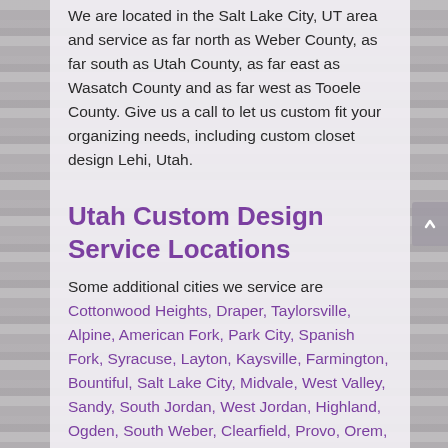We are located in the Salt Lake City, UT area and service as far north as Weber County, as far south as Utah County, as far east as Wasatch County and as far west as Tooele County. Give us a call to let us custom fit your organizing needs, including custom closet design Lehi, Utah.
Utah Custom Design Service Locations
Some additional cities we service are Cottonwood Heights, Draper, Taylorsville, Alpine, American Fork, Park City, Spanish Fork, Syracuse, Layton, Kaysville, Farmington, Bountiful, Salt Lake City, Midvale, West Valley, Sandy, South Jordan, West Jordan, Highland, Ogden, South Weber, Clearfield, Provo, Orem, Lindon, Lehi, Utah and more.